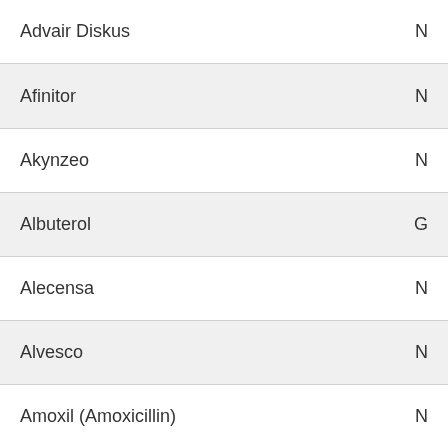Advair Diskus   N
Afinitor   N
Akynzeo   N
Albuterol   G
Alecensa   N
Alvesco   N
Amoxil (Amoxicillin)   N
(partial row at bottom)